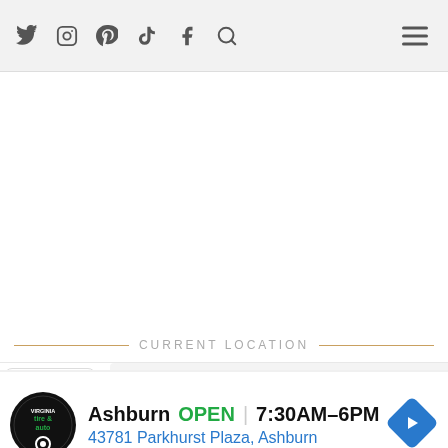Social icons (Twitter, Instagram, Pinterest, TikTok, Facebook, Search) and hamburger menu
CURRENT LOCATION
[Figure (screenshot): Partial map silhouette and dropdown chevron button]
Ashburn OPEN 7:30AM–6PM 43781 Parkhurst Plaza, Ashburn